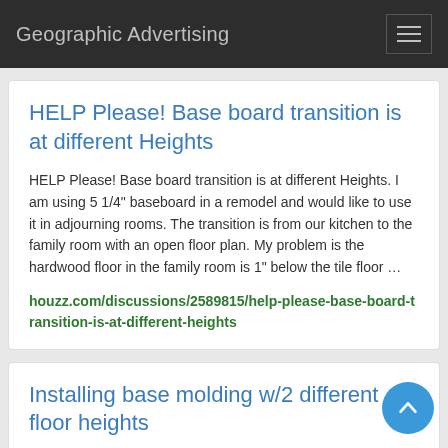Geographic Advertising
HELP Please! Base board transition is at different Heights
HELP Please! Base board transition is at different Heights. I am using 5 1/4" baseboard in a remodel and would like to use it in adjourning rooms. The transition is from our kitchen to the family room with an open floor plan. My problem is the hardwood floor in the family room is 1" below the tile floor …
houzz.com/discussions/2589815/help-please-base-board-transition-is-at-different-heights
Installing base molding w/2 different floor heights
10-14-2005, 03:25 PM. Re: Installing base molding w/2 different floor heights. 1. If the base between the rooms is